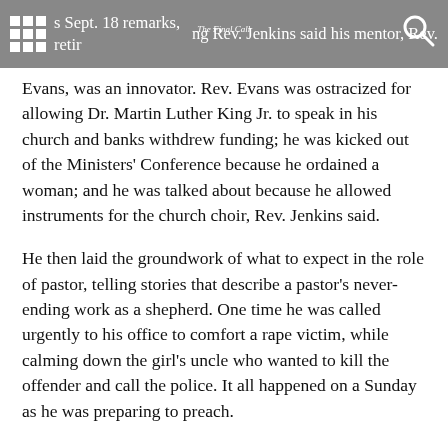s Sept. 18 remarks, retiring Rev. Jenkins said his mentor, Rev. | The Final Call
Evans, was an innovator. Rev. Evans was ostracized for allowing Dr. Martin Luther King Jr. to speak in his church and banks withdrew funding; he was kicked out of the Ministers' Conference because he ordained a woman; and he was talked about because he allowed instruments for the church choir, Rev. Jenkins said.
He then laid the groundwork of what to expect in the role of pastor, telling stories that describe a pastor's never-ending work as a shepherd. One time he was called urgently to his office to comfort a rape victim, while calming down the girl's uncle who wanted to kill the offender and call the police. It all happened on a Sunday as he was preparing to preach.
The responsibilities are “more than meets the eye,” he said. “It’s one job with a whole bunch of hats at the same time.”
Rev. Jenkins said Hebrew words that describe shepherd include